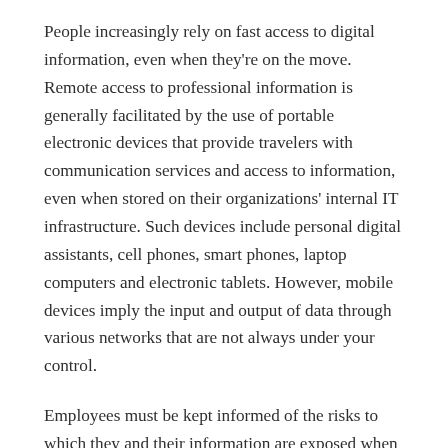People increasingly rely on fast access to digital information, even when they're on the move. Remote access to professional information is generally facilitated by the use of portable electronic devices that provide travelers with communication services and access to information, even when stored on their organizations' internal IT infrastructure. Such devices include personal digital assistants, cell phones, smart phones, laptop computers and electronic tablets. However, mobile devices imply the input and output of data through various networks that are not always under your control.
Employees must be kept informed of the risks to which they and their information are exposed when travelling with these devices, as well as the measures they can apply in order to mitigate them.